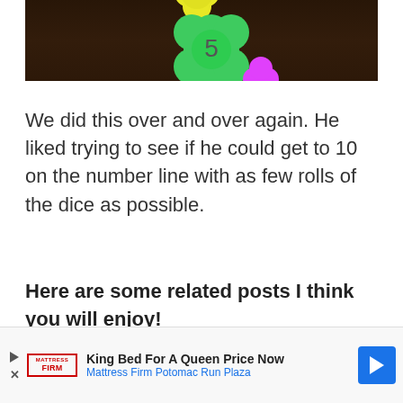[Figure (photo): Photo of colorful paper flower cutouts on a dark wood surface. A green flower-shaped cutout with the number 5 written on it is in the center. A yellow flower cutout is visible at the top, and a pink flower cutout is at the bottom right.]
We did this over and over again. He liked trying to see if he could get to 10 on the number line with as few rolls of the dice as possible.
Here are some related posts I think you will enjoy!
King Bed For A Queen Price Now Mattress Firm Potomac Run Plaza